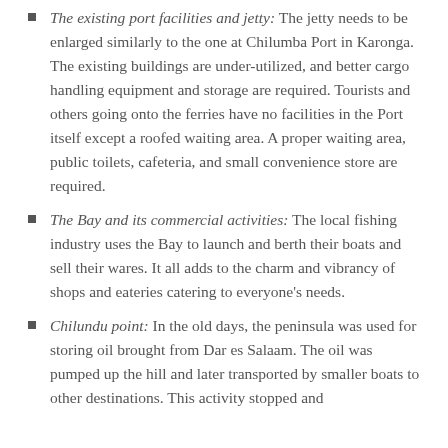The existing port facilities and jetty: The jetty needs to be enlarged similarly to the one at Chilumba Port in Karonga. The existing buildings are under-utilized, and better cargo handling equipment and storage are required. Tourists and others going onto the ferries have no facilities in the Port itself except a roofed waiting area. A proper waiting area, public toilets, cafeteria, and small convenience store are required.
The Bay and its commercial activities: The local fishing industry uses the Bay to launch and berth their boats and sell their wares. It all adds to the charm and vibrancy of shops and eateries catering to everyone's needs.
Chilundu point: In the old days, the peninsula was used for storing oil brought from Dar es Salaam. The oil was pumped up the hill and later transported by smaller boats to other destinations. This activity stopped and